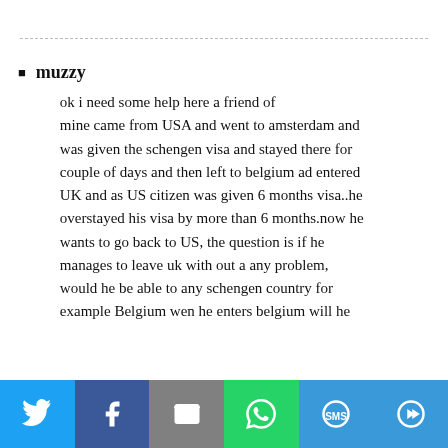muzzy
ok i need some help here a friend of mine came from USA and went to amsterdam and was given the schengen visa and stayed there for couple of days and then left to belgium ad entered UK and as US citizen was given 6 months visa..he overstayed his visa by more than 6 months.now he wants to go back to US, the question is if he manages to leave uk with out a any problem, would he be able to any schengen country for example Belgium wen he enters belgium will he
Social share bar: Twitter, Facebook, Email, WhatsApp, SMS, More